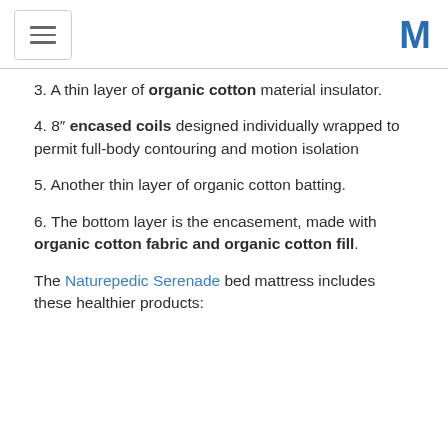[hamburger menu icon] [M logo]
3. A thin layer of organic cotton material insulator.
4. 8" encased coils designed individually wrapped to permit full-body contouring and motion isolation
5. Another thin layer of organic cotton batting.
6. The bottom layer is the encasement, made with organic cotton fabric and organic cotton fill.
The Naturepedic Serenade bed mattress includes these healthier products: